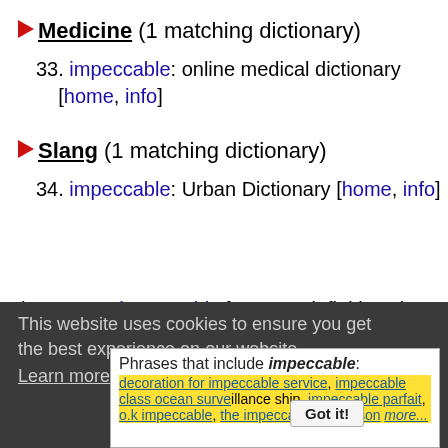Medicine (1 matching dictionary)
33. impeccable: online medical dictionary [home, info]
Slang (1 matching dictionary)
34. impeccable: Urban Dictionary [home, info]
(Note: See impeccably for more definitions.)
This website uses cookies to ensure you get the best experience on our website.
Learn more
Phrases that include impeccable: decoration for impeccable service, impeccable class ocean surveillance ship, impeccable parfait, o.k impeccable, the impeccable mr. wilson more...
Got it!